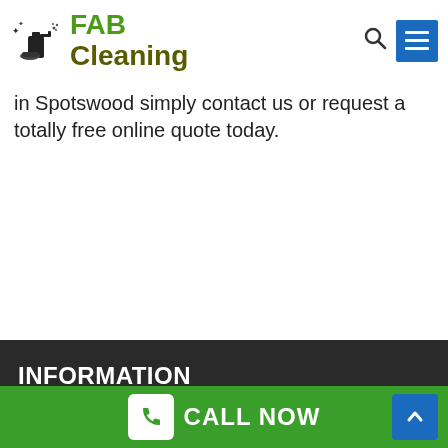[Figure (logo): FAB Cleaning logo with cleaning spray bottle icon, green FAB text and olive Cleaning text]
in Spotswood simply contact us or request a totally free online quote today.
INFORMATION
For all your cleaning needs, contact House Cleaning Melbourne today. Your home will thank you!
Tel: 7018 0740
Location: Tintern Mews
CALL NOW